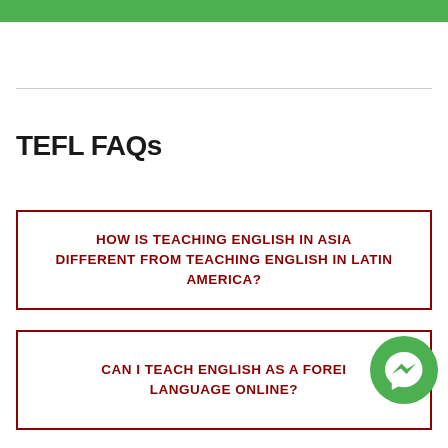TEFL FAQs
HOW IS TEACHING ENGLISH IN ASIA DIFFERENT FROM TEACHING ENGLISH IN LATIN AMERICA?
CAN I TEACH ENGLISH AS A FOREIGN LANGUAGE ONLINE?
[Figure (logo): Green Facebook Messenger icon circle with lightning bolt chat symbol]